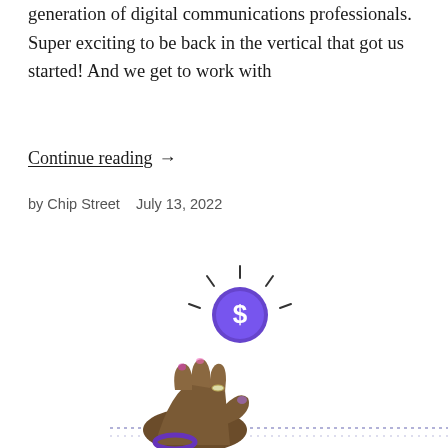generation of digital communications professionals. Super exciting to be back in the vertical that got us started! And we get to work with
Continue reading →
by Chip Street   July 13, 2022
[Figure (illustration): Illustration of a hand flipping a coin with a purple dollar-sign coin above it radiating light lines, and a blue pickup truck facing forward with pink headlights and a license plate, on a white background with dotted lines.]